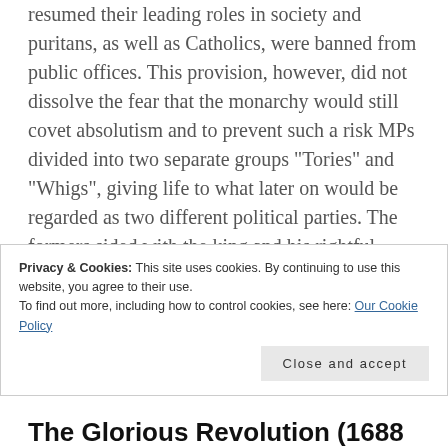resumed their leading roles in society and puritans, as well as Catholics, were banned from public offices. This provision, however, did not dissolve the fear that the monarchy would still covet absolutism and to prevent such a risk MPs divided into two separate groups "Tories" and "Whigs", giving life to what later on would be regarded as two different political parties. The formers sided with the king and his rightful heirs, supporting the Church of England and landowners. The latter, counting among them b the m l d bl th
Privacy & Cookies: This site uses cookies. By continuing to use this website, you agree to their use.
To find out more, including how to control cookies, see here: Our Cookie Policy
The Glorious Revolution (1688...